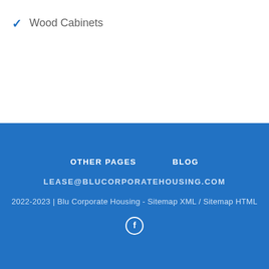✓ Wood Cabinets
OTHER PAGES   BLOG
LEASE@BLUCORPORATEHOUSING.COM
2022-2023 | Blu Corporate Housing - Sitemap XML / Sitemap HTML
f